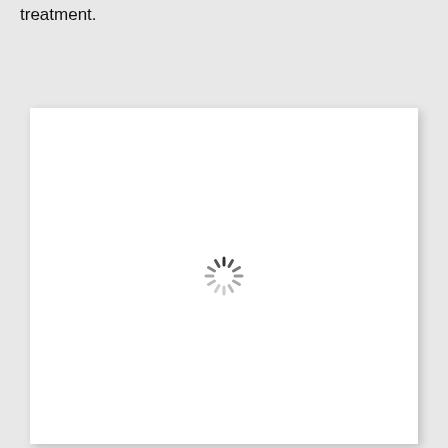treatment.
[Figure (other): A white card/panel with a loading spinner (circular dashed animation indicator) centered within it, displayed against a light gray background.]